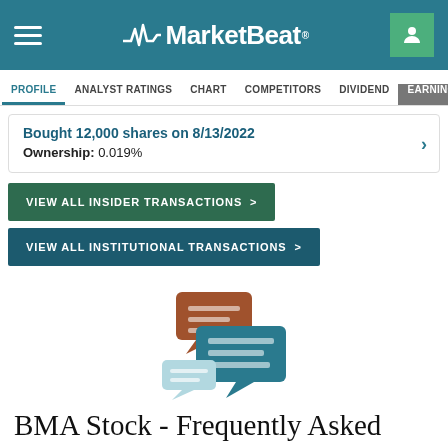MarketBeat
PROFILE  ANALYST RATINGS  CHART  COMPETITORS  DIVIDEND  EARNINGS
Bought 12,000 shares on 8/13/2022
Ownership: 0.019%
VIEW ALL INSIDER TRANSACTIONS >
VIEW ALL INSTITUTIONAL TRANSACTIONS >
[Figure (illustration): Chat bubble illustration with three overlapping speech bubbles in brown, teal, and light teal colors representing FAQ section]
BMA Stock - Frequently Asked Questions